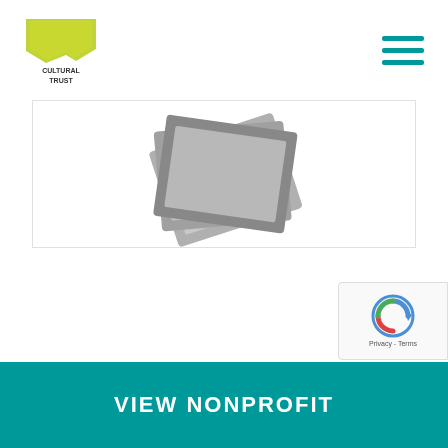Oregon Cultural Trust
[Figure (logo): Oregon Cultural Trust logo — green Oregon state shape with text CULTURAL TRUST below]
[Figure (illustration): Gray stacked photo/card icons placeholder image]
CREATIVE MUSIC GUILD
...
VIEW NONPROFIT